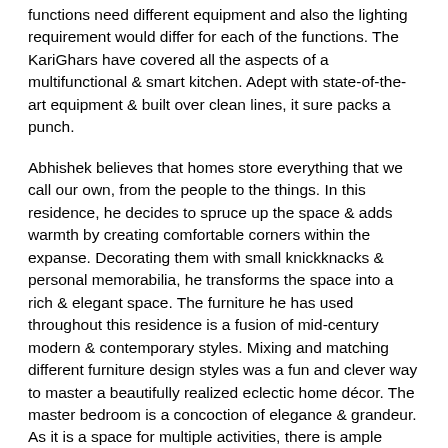functions need different equipment and also the lighting requirement would differ for each of the functions. The KariGhars have covered all the aspects of a multifunctional & smart kitchen. Adept with state-of-the-art equipment & built over clean lines, it sure packs a punch.
Abhishek believes that homes store everything that we call our own, from the people to the things. In this residence, he decides to spruce up the space & adds warmth by creating comfortable corners within the expanse. Decorating them with small knickknacks & personal memorabilia, he transforms the space into a rich & elegant space. The furniture he has used throughout this residence is a fusion of mid-century modern & contemporary styles. Mixing and matching different furniture design styles was a fun and clever way to master a beautifully realized eclectic home décor. The master bedroom is a concoction of elegance & grandeur. As it is a space for multiple activities, there is ample provision of artificial lights in the night as well as natural light during the day time. A subtle color palette has been chosen for the bedroom & the ceiling offset the colors in the room through cove lighting. The room has adequate storage in the form of a big floor to ceiling mirror wardrobe with a touch of veneer & side drawers in multiple locations throughout the space. The kid's bedroom is nothing short of a spectacle. A cheerful yellow & blue color scheme was chosen & bunk beds encompassing the shape of a hut